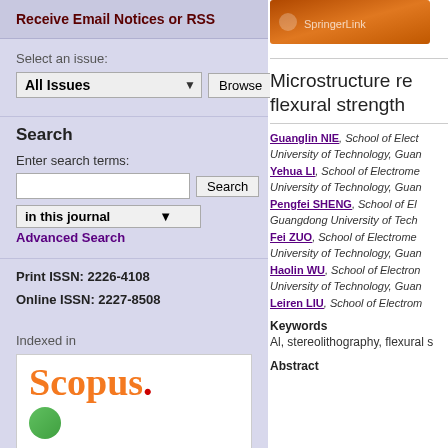Receive Email Notices or RSS
Select an issue:
All Issues   Browse
Search
Enter search terms:
in this journal
Advanced Search
Print ISSN: 2226-4108
Online ISSN: 2227-8508
Indexed in
[Figure (logo): Scopus logo in orange text]
[Figure (logo): Springer journal cover thumbnail in orange/brown]
Microstructure re... flexural strength...
Guanglin NIE, School of Elect... University of Technology, Guan... Yehua LI, School of Electrome... University of Technology, Guan... Pengfei SHENG, School of El... Guangdong University of Tech... Fei ZUO, School of Electrome... University of Technology, Guan... Haolin WU, School of Electron... University of Technology, Guan... Leiren LIU, School of Electrom...
Keywords
Al, stereolithography, flexural s...
Abstract